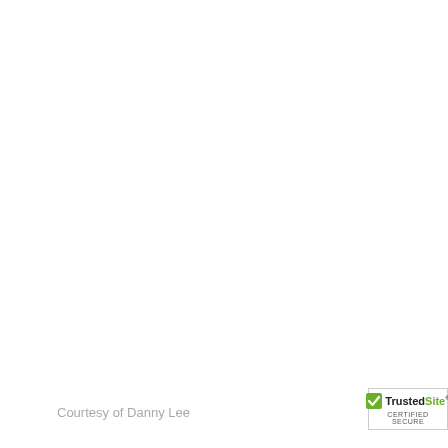Courtesy of Danny Lee
[Figure (logo): TrustedSite Certified Secure badge with green checkmark]